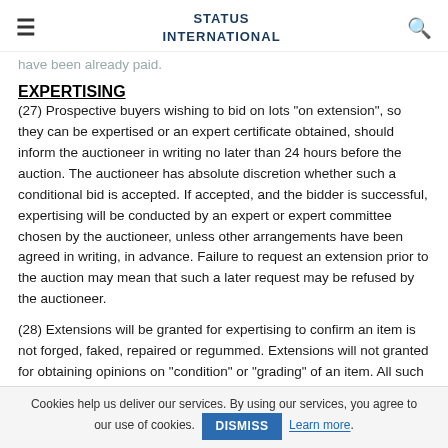STATUS INTERNATIONAL
have been already paid.
EXPERTISING
(27) Prospective buyers wishing to bid on lots "on extension", so they can be expertised or an expert certificate obtained, should inform the auctioneer in writing no later than 24 hours before the auction. The auctioneer has absolute discretion whether such a conditional bid is accepted. If accepted, and the bidder is successful, expertising will be conducted by an expert or expert committee chosen by the auctioneer, unless other arrangements have been agreed in writing, in advance. Failure to request an extension prior to the auction may mean that such a later request may be refused by the auctioneer.
(28) Extensions will be granted for expertising to confirm an item is not forged, faked, repaired or regummed. Extensions will not granted for obtaining opinions on "condition" or "grading" of an item. All such matters of "condition" to have been decided by the buyer or by the auctioneer as per instructions given by
Cookies help us deliver our services. By using our services, you agree to our use of cookies. DISMISS Learn more.